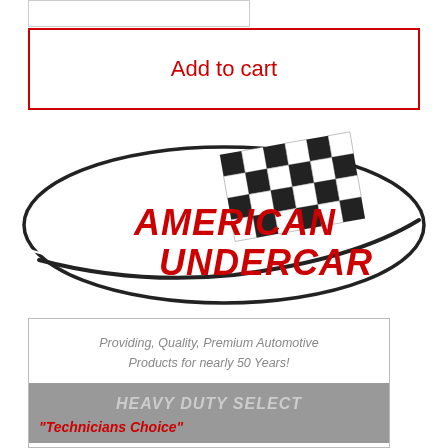[Figure (other): Quantity input box (partially visible at top)]
Add to cart
[Figure (logo): American Undercar logo — oval shape with checkered racing flag, red italic bold text reading AMERICAN UNDERCAR]
Providing, Quality, Premium Automotive Products for nearly 50 Years!
HEAVY DUTY SELECT
"Technicians Choice"